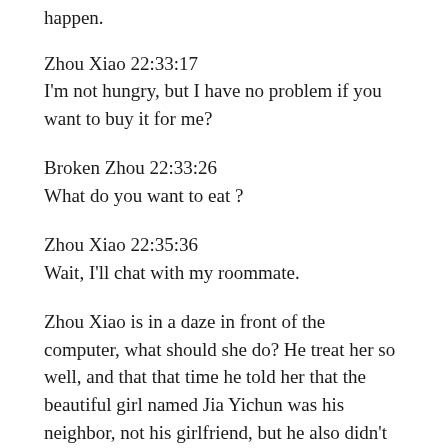happen.
Zhou Xiao 22:33:17
I'm not hungry, but I have no problem if you want to buy it for me?
Broken Zhou 22:33:26
What do you want to eat ?
Zhou Xiao 22:35:36
Wait, I'll chat with my roommate.
Zhou Xiao is in a daze in front of the computer, what should she do? He treat her so well, and that that time he told her that the beautiful girl named Jia Yichun was his neighbor, not his girlfriend, but he also didn't confess to her after so long, could it be just her wishful thinking?